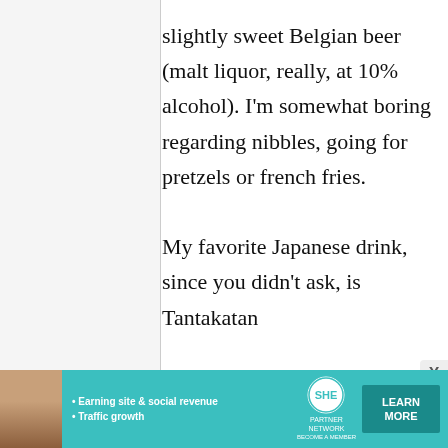slightly sweet Belgian beer (malt liquor, really, at 10% alcohol). I'm somewhat boring regarding nibbles, going for pretzels or french fries.

My favorite Japanese drink, since you didn't ask, is Tantakatan
[Figure (other): Advertisement banner for SHE Partner Network showing a woman, bullet points 'Earning site & social revenue' and 'Traffic growth', SHE logo, and a 'LEARN MORE' button]